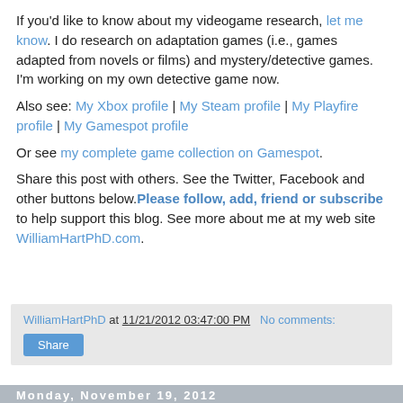If you'd like to know about my videogame research, let me know. I do research on adaptation games (i.e., games adapted from novels or films) and mystery/detective games. I'm working on my own detective game now.
Also see: My Xbox profile | My Steam profile | My Playfire profile | My Gamespot profile
Or see my complete game collection on Gamespot.
Share this post with others. See the Twitter, Facebook and other buttons below. Please follow, add, friend or subscribe to help support this blog. See more about me at my web site WilliamHartPhD.com.
WilliamHartPhD at 11/21/2012 03:47:00 PM   No comments:
Monday, November 19, 2012